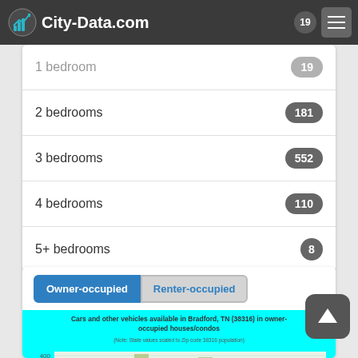City-Data.com
1 bedroom — 19
2 bedrooms — 181
3 bedrooms — 552
4 bedrooms — 110
5+ bedrooms — 8
Owner-occupied | Renter-occupied
[Figure (bar-chart): Bar chart showing cars and other vehicles available in Bradford, TN (38316) in owner-occupied houses/condos. Note: State values scaled to Zip code 38316 population. Y-axis shows values 200 and 400 visible. Bars in purple and green colors visible for multiple categories.]